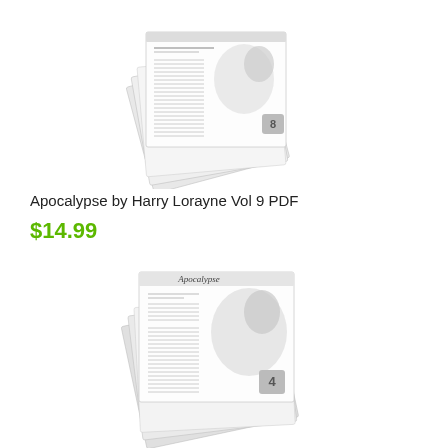[Figure (illustration): Stack of newsletter/magazine pages for Apocalypse by Harry Lorayne Vol 9, shown as a fanned pile of papers with printed text and illustration visible on top page]
Apocalypse by Harry Lorayne Vol 9 PDF
$14.99
[Figure (illustration): Stack of newsletter/magazine pages for Apocalypse by Harry Lorayne Vol 4, shown as a fanned pile of papers with 'Apocalypse' masthead and illustrated cover page visible]